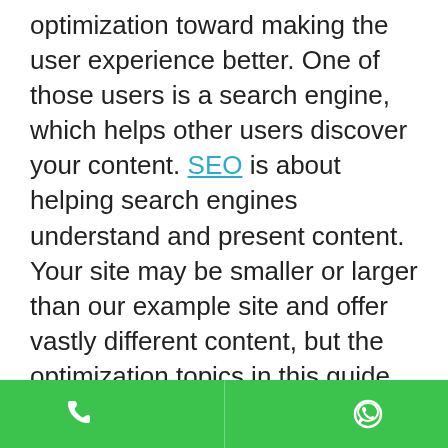optimization toward making the user experience better. One of those users is a search engine, which helps other users discover your content. SEO is about helping search engines understand and present content. Your site may be smaller or larger than our example site and offer vastly different content, but the optimization topics in this guide apply to sites of all sizes and types.
If you have a website on an automated web hosting platform like Blogger, Wix, or Squarespace, or run a small business and don't have
[Figure (other): Green footer bar with phone icon (left) and WhatsApp icon (right)]